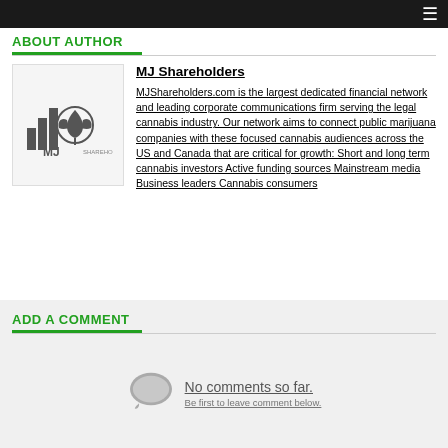☰
ABOUT AUTHOR
[Figure (logo): MJ Shareholders logo with cannabis leaf icon and bar chart graphic]
MJ Shareholders
MJShareholders.com is the largest dedicated financial network and leading corporate communications firm serving the legal cannabis industry. Our network aims to connect public marijuana companies with these focused cannabis audiences across the US and Canada that are critical for growth: Short and long term cannabis investors Active funding sources Mainstream media Business leaders Cannabis consumers
ADD A COMMENT
[Figure (illustration): Speech bubble / comment icon in gray]
No comments so far.
Be first to leave comment below.